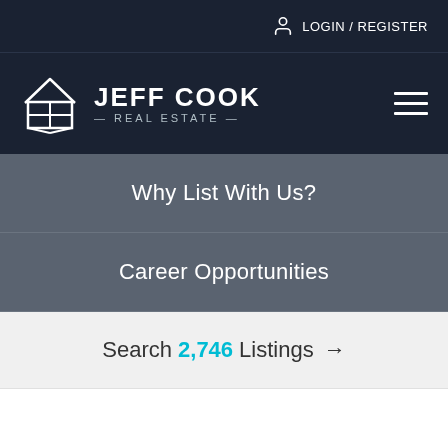LOGIN / REGISTER
[Figure (logo): Jeff Cook Real Estate logo with house icon and text JEFF COOK REAL ESTATE]
Why List With Us?
Career Opportunities
Search 2,746 Listings →
Home > Liberty